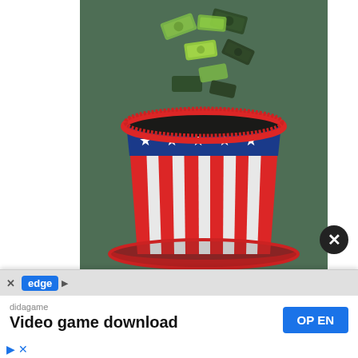[Figure (illustration): Infographic poster with dark green background showing an Uncle Sam-style patriotic top hat (red and white stripes, blue band with white stars) with dollar bills flying out from the top. Text below reads 'LEARN HOW TO PAY TAXES' in large bold letters on the green background.]
[Figure (screenshot): Ad overlay bar at bottom of screen showing Edge browser advertisement for 'didagame' with text 'Video game download' and a blue 'OPEN' button. Header bar shows a close X, 'edge' browser badge, and navigation arrows.]